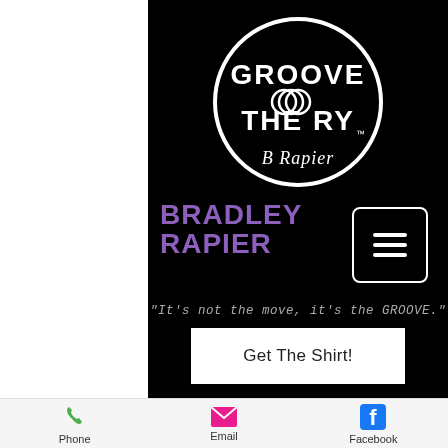[Figure (logo): Groove Theory circular logo with white circle border on black background, featuring 'GROOVE THEORY' text and a signature 'B Rapier' below]
BRADLEY RAPIER
"It's not the move, it's the GROOVE."
Get The Shirt!
Phone   Email   Facebook